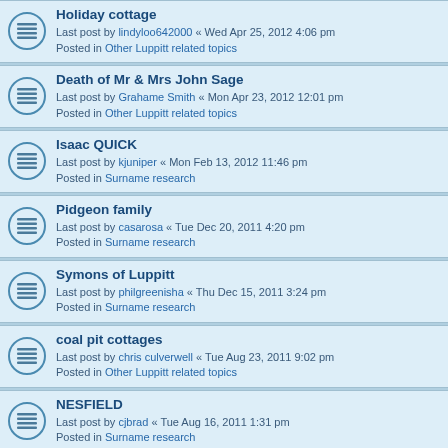Holiday cottage
Last post by lindyloo642000 « Wed Apr 25, 2012 4:06 pm
Posted in Other Luppitt related topics
Death of Mr & Mrs John Sage
Last post by Grahame Smith « Mon Apr 23, 2012 12:01 pm
Posted in Other Luppitt related topics
Isaac QUICK
Last post by kjuniper « Mon Feb 13, 2012 11:46 pm
Posted in Surname research
Pidgeon family
Last post by casarosa « Tue Dec 20, 2011 4:20 pm
Posted in Surname research
Symons of Luppitt
Last post by philgreenisha « Thu Dec 15, 2011 3:24 pm
Posted in Surname research
coal pit cottages
Last post by chris culverwell « Tue Aug 23, 2011 9:02 pm
Posted in Other Luppitt related topics
NESFIELD
Last post by cjbrad « Tue Aug 16, 2011 1:31 pm
Posted in Surname research
WARREN Family Jacob and Susannah
Last post by lnorvill « Fri Jul 23, 2010 10:12 pm
Posted in Surname research
SPURWAY